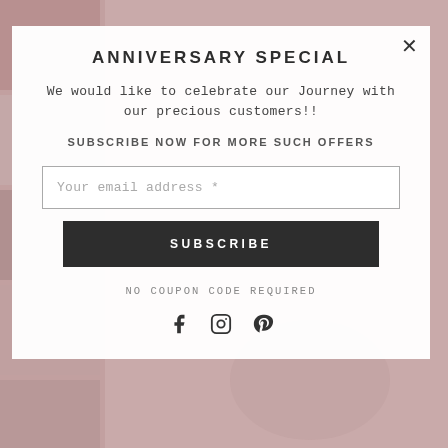[Figure (screenshot): Background showing a collage of fashion/clothing photos in muted pink and grey tones]
ANNIVERSARY SPECIAL
We would like to celebrate our Journey with our precious customers!!
SUBSCRIBE NOW FOR MORE SUCH OFFERS
Your email address *
SUBSCRIBE
NO COUPON CODE REQUIRED
[Figure (illustration): Social media icons: Facebook, Instagram, Pinterest]